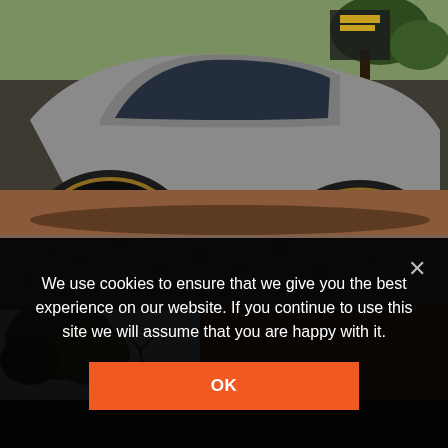[Figure (photo): Close-up photo of a silver/grey sports car with black multi-spoke wheels, photographed from a low angle on a textured reddish-brown and grey tarmac surface. Other vehicles visible in background with trees.]
[Figure (photo): Partial photo below the car image showing trees/foliage on the left against a sky, and a brick wall texture on the right.]
We use cookies to ensure that we give you the best experience on our website. If you continue to use this site we will assume that you are happy with it.
OK